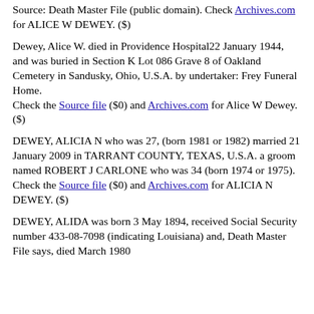Source: Death Master File (public domain). Check Archives.com for ALICE W DEWEY. ($)
Dewey, Alice W. died in Providence Hospital22 January 1944, and was buried in Section K Lot 086 Grave 8 of Oakland Cemetery in Sandusky, Ohio, U.S.A. by undertaker: Frey Funeral Home. Check the Source file ($0) and Archives.com for Alice W Dewey. ($)
DEWEY, ALICIA N who was 27, (born 1981 or 1982) married 21 January 2009 in TARRANT COUNTY, TEXAS, U.S.A. a groom named ROBERT J CARLONE who was 34 (born 1974 or 1975). Check the Source file ($0) and Archives.com for ALICIA N DEWEY. ($)
DEWEY, ALIDA was born 3 May 1894, received Social Security number 433-08-7098 (indicating Louisiana) and, Death Master File says, died March 1980